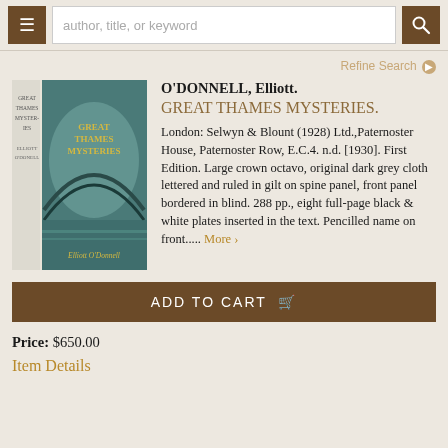author, title, or keyword
Refine Search
[Figure (photo): Book cover of Great Thames Mysteries by Elliott O'Donnell, showing a dark-teal illustrated dust jacket with the title in yellow lettering and the author's name at the bottom, with the spine visible on the left.]
O'DONNELL, Elliott.
GREAT THAMES MYSTERIES.
London: Selwyn & Blount (1928) Ltd.,Paternoster House, Paternoster Row, E.C.4. n.d. [1930]. First Edition. Large crown octavo, original dark grey cloth lettered and ruled in gilt on spine panel, front panel bordered in blind. 288 pp., eight full-page black & white plates inserted in the text. Pencilled name on front..... More >
ADD TO CART
Price: $650.00
Item Details